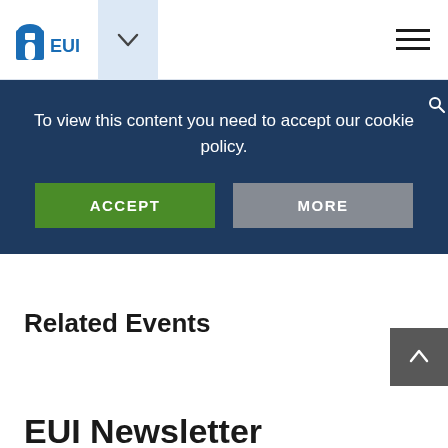[Figure (logo): EUI (European University Institute) logo with house/arch icon in blue]
To view this content you need to accept our cookie policy.
ACCEPT
MORE
Related Events
EUI Newsletter